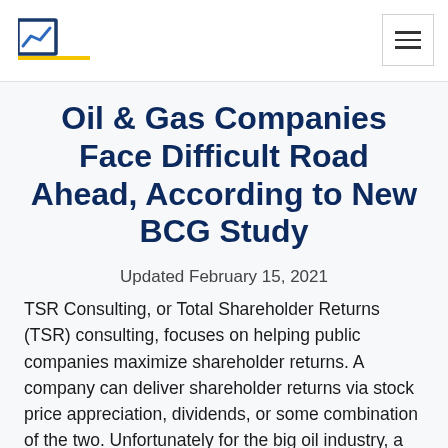TSR Consulting logo and navigation
Oil & Gas Companies Face Difficult Road Ahead, According to New BCG Study
Updated February 15, 2021
TSR Consulting, or Total Shareholder Returns (TSR) consulting, focuses on helping public companies maximize shareholder returns. A company can deliver shareholder returns via stock price appreciation, dividends, or some combination of the two. Unfortunately for the big oil industry, a recent